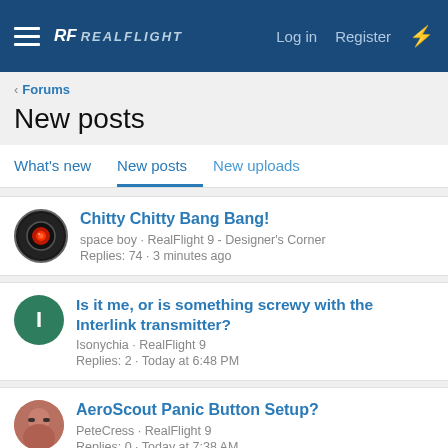RF REALFLIGHT — Log in  Register
< Forums
New posts
What's new   New posts   New uploads
Chitty Chitty Bang Bang!
space boy · RealFlight 9 - Designer's Corner
Replies: 74 · 3 minutes ago
Is it me, or is something screwy with the Interlink transmitter?
Isonychia · RealFlight 9
Replies: 2 · Today at 6:48 PM
AeroScout Panic Button Setup?
PeteCress · RealFlight 9
Replies: 0 · Today at 7:38 AM